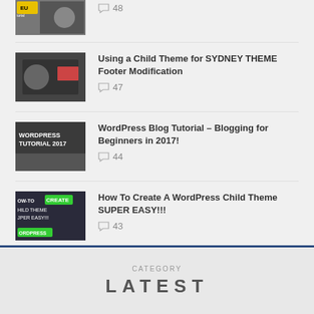48 comments
Using a Child Theme for SYDNEY THEME Footer Modification — 47 comments
WordPress Blog Tutorial – Blogging for Beginners in 2017! — 44 comments
How To Create A WordPress Child Theme SUPER EASY!!! — 43 comments
[Figure (other): AdZonse Ads Banner placeholder]
LATEST